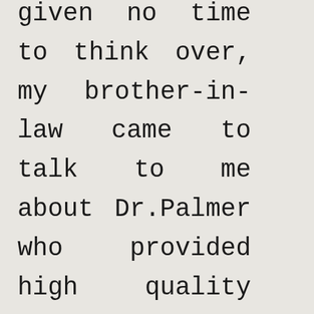given no time to think over, my brother-in-law came to talk to me about Dr.Palmer who provided high quality hemp cannabis oil for me and recommended some drugs along in which i took twice daily,and now the doctor confirmed am perfecltly ok and got no tumour on me again.you can get in touch with Dr.Palmer